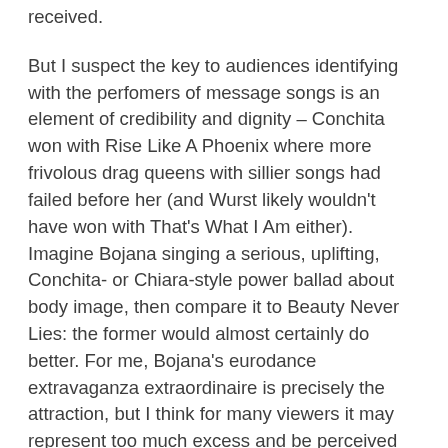received.
But I suspect the key to audiences identifying with the perfomers of message songs is an element of credibility and dignity – Conchita won with Rise Like A Phoenix where more frivolous drag queens with sillier songs had failed before her (and Wurst likely wouldn't have won with That's What I Am either). Imagine Bojana singing a serious, uplifting, Conchita- or Chiara-style power ballad about body image, then compare it to Beauty Never Lies: the former would almost certainly do better. For me, Bojana's eurodance extravaganza extraordinaire is precisely the attraction, but I think for many viewers it may represent too much excess and be perceived as a negative in the way that the final minute of Crisalide was by many fans including myself. Staging idea: project a smaller Bojana onto the sheet of shame for added Russian-doll effect.